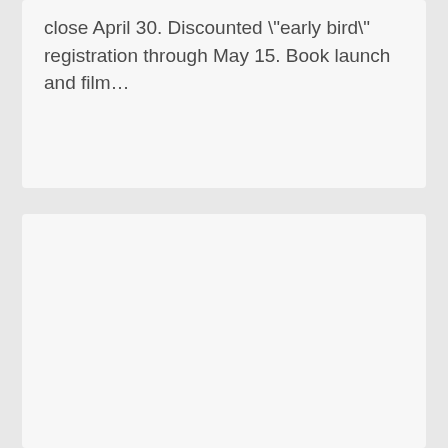close April 30. Discounted "early bird" registration through May 15. Book launch and film…